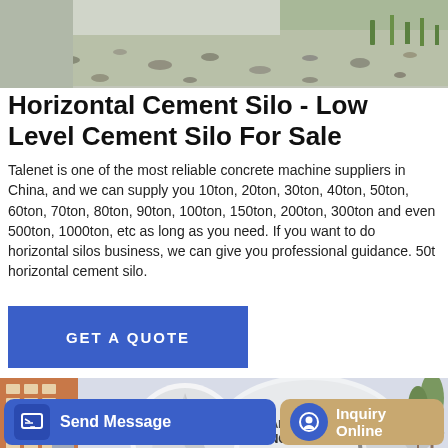[Figure (photo): Top portion of a photo showing gravel/stones on the ground, likely a construction or storage yard.]
Horizontal Cement Silo - Low Level Cement Silo For Sale
Talenet is one of the most reliable concrete machine suppliers in China, and we can supply you 10ton, 20ton, 30ton, 40ton, 50ton, 60ton, 70ton, 80ton, 90ton, 100ton, 150ton, 200ton, 300ton and even 500ton, 1000ton, etc as long as you need. If you want to do horizontal silos business, we can give you professional guidance. 50t horizontal cement silo.
[Figure (other): Blue button with text GET A QUOTE]
[Figure (photo): Photo of a concrete mixer truck/machine with DISCHARGE MIXING labels, parked in front of a building.]
[Figure (other): Bottom navigation bar with Send Message button (blue) and Inquiry Online button (tan/gold)]